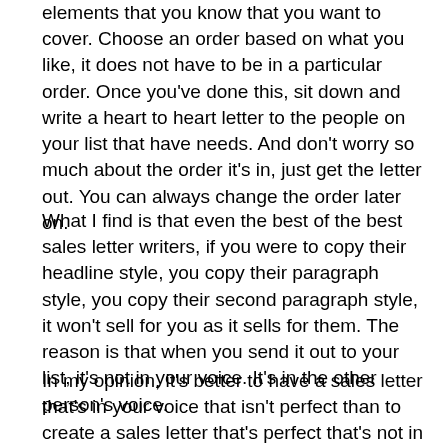elements that you know that you want to cover.  Choose an order based on what you like, it does not have to be in a particular order.  Once you've done this, sit down and write a heart to heart letter to the people on your list that have needs.  And don't worry so much about the order it's in, just get the letter out.  You can always change the order later on.
What I find is that even the best of the best sales letter writers, if you were to copy their headline style, you copy their paragraph style, you copy their second paragraph style, it won't sell for you as it sells for them.  The reason is that when you send it out to your list, it's not in your voice.  It's in the other person's voice.
In my opinion, it's better to have a sales letter that's in your voice that isn't perfect than to create a sales letter that's perfect that's not in your voice.  I find that your conversions will go up, I've seen it happen in my case, in others case's that the numbers go up.  There may be some language that you want to learn, but that's not the